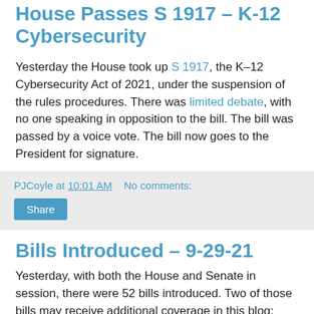House Passes S 1917 – K-12 Cybersecurity
Yesterday the House took up S 1917, the K–12 Cybersecurity Act of 2021, under the suspension of the rules procedures. There was limited debate, with no one speaking in opposition to the bill. The bill was passed by a voice vote. The bill now goes to the President for signature.
PJCoyle at 10:01 AM   No comments:
Share
Bills Introduced – 9-29-21
Yesterday, with both the House and Senate in session, there were 52 bills introduced. Two of those bills may receive additional coverage in this blog:
HR 5412 To authorize appropriations for fiscal year 2022 for intelligence and intelligence-related activities...